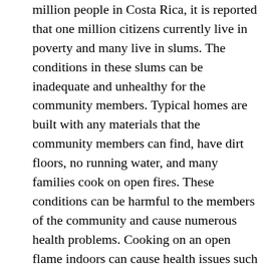million people in Costa Rica, it is reported that one million citizens currently live in poverty and many live in slums. The conditions in these slums can be inadequate and unhealthy for the community members. Typical homes are built with any materials that the community members can find, have dirt floors, no running water, and many families cook on open fires. These conditions can be harmful to the members of the community and cause numerous health problems. Cooking on an open flame indoors can cause health issues such as early childhood pneumonia, emphysema, lung cancer, bronchitis, cardiovascular disease and low birth weight. The members of the team will work together with locals to restore houses in the community. They will install flooring, construct stoves and take on other small improvements in the community. Through hands-on volunteer work and immersion in the community, the team members will be able to gain a better understanding of the